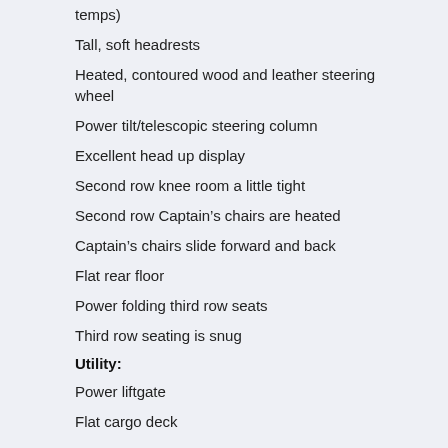temps)
Tall, soft headrests
Heated, contoured wood and leather steering wheel
Power tilt/telescopic steering column
Excellent head up display
Second row knee room a little tight
Second row Captain’s chairs are heated
Captain’s chairs slide forward and back
Flat rear floor
Power folding third row seats
Third row seating is snug
Utility:
Power liftgate
Flat cargo deck